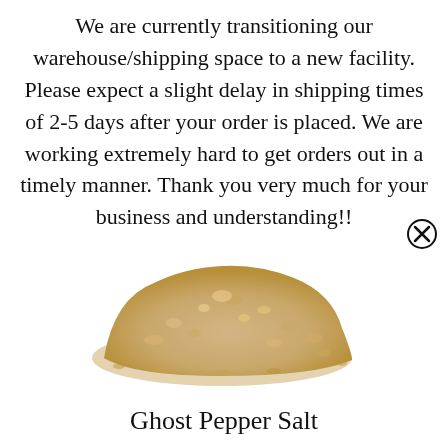We are currently transitioning our warehouse/shipping space to a new facility. Please expect a slight delay in shipping times of 2-5 days after your order is placed. We are working extremely hard to get orders out in a timely manner. Thank you very much for your business and understanding!!
[Figure (photo): A pile of coarse golden-tan Ghost Pepper Salt crystals on a white background]
Ghost Pepper Salt